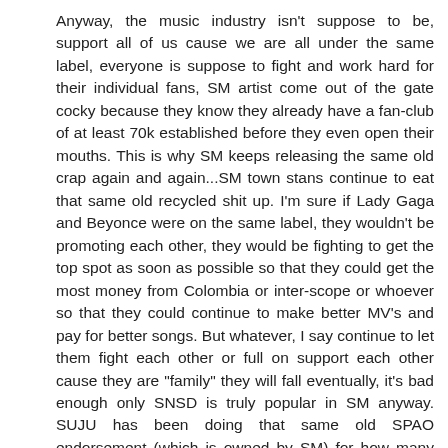Anyway, the music industry isn't suppose to be, support all of us cause we are all under the same label, everyone is suppose to fight and work hard for their individual fans, SM artist come out of the gate cocky because they know they already have a fan-club of at least 70k established before they even open their mouths. This is why SM keeps releasing the same old crap again and again...SM town stans continue to eat that same old recycled shit up. I'm sure if Lady Gaga and Beyonce were on the same label, they wouldn't be promoting each other, they would be fighting to get the top spot as soon as possible so that they could get the most money from Colombia or inter-scope or whoever so that they could continue to make better MV's and pay for better songs. But whatever, I say continue to let them fight each other or full on support each other cause they are "family" they will fall eventually, it's bad enough only SNSD is truly popular in SM anyway. SUJU has been doing that same old SPAO endorsement (which is owned by SM) for how many years now? SM is gonna burn out soon. Once SNSD falls from the TOP (and they will one day no-matter what sones believe) who are they truly gonna boys?